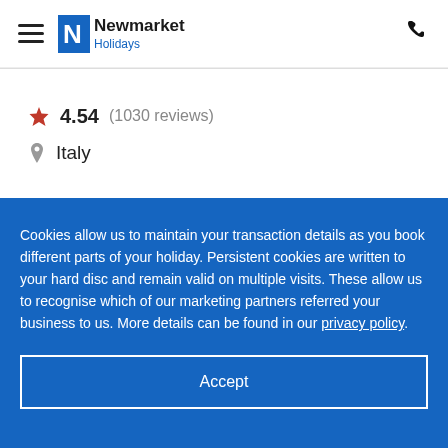Newmarket Holidays
4.54 (1030 reviews)
Italy
Cookies allow us to maintain your transaction details as you book different parts of your holiday. Persistent cookies are written to your hard disc and remain valid on multiple visits. These allow us to recognise which of our marketing partners referred your business to us. More details can be found in our privacy policy.
Accept